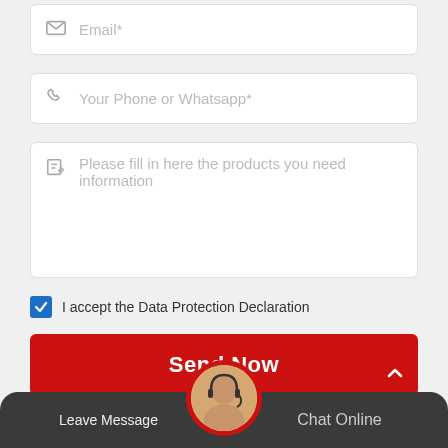[Figure (other): Email input field with envelope icon and placeholder text 'Email*']
[Figure (other): Phone input field with phone icon and placeholder text 'Your Phone or Whatsapp*']
[Figure (other): Textarea input field with edit icon and placeholder text 'Please fill in here the products you need information']
I accept the Data Protection Declaration
Send Now
Related Product
Leave Message
Chat Online